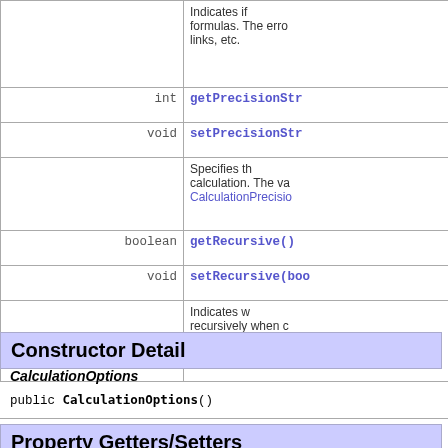| Type | Method/Description |
| --- | --- |
|  | Indicates if
formulas. The erro
links, etc. |
| int | getPrecisionStr |
| void | setPrecisionStr |
|  | Specifies th
calculation. The va
CalculationPrecisio |
| boolean | getRecursive() |
| void | setRecursive(boo |
|  | Indicates w
recursively when c
other cells. |
Constructor Detail
CalculationOptions
public CalculationOptions()
Property Getters/Setters